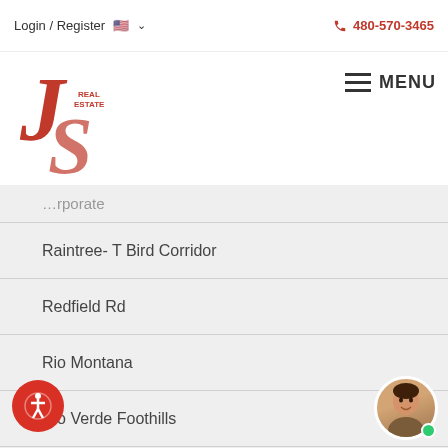Login / Register  480-570-3465
[Figure (logo): JS Real Estate logo in red with cursive J and S letters]
…rporate
Raintree- T Bird Corridor
Redfield Rd
Rio Montana
Rio Verde Foothills
Roosevelt Miller
Sabino Estates
Saddleback
Saddleview